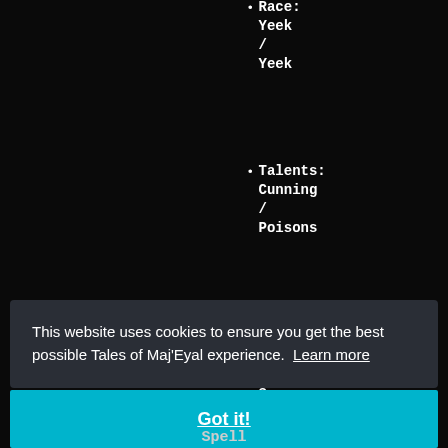Race: Yeek / Yeek
Talents: Cunning / Poisons
Talents: Demented / Scourge Drake
Talents: (partially visible)
This website uses cookies to ensure you get the best possible Tales of Maj'Eyal experience. Learn more
Got it!
Spell